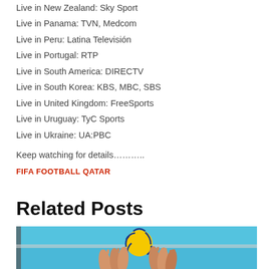Live in New Zealand: Sky Sport
Live in Panama: TVN, Medcom
Live in Peru: Latina Televisión
Live in Portugal: RTP
Live in South America: DIRECTV
Live in South Korea: KBS, MBC, SBS
Live in United Kingdom: FreeSports
Live in Uruguay: TyC Sports
Live in Ukraine: UA:PBC
Keep watching for details………..
FIFA FOOTBALL QATAR
Related Posts
[Figure (photo): Volleyball match photo showing hands reaching up to block a ball near the net, with a yellow and blue volleyball visible]